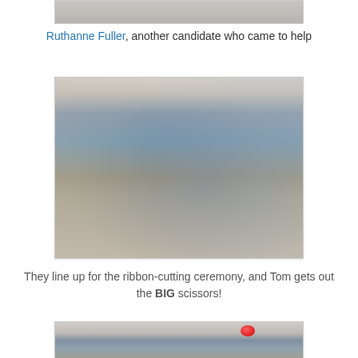[Figure (photo): Top partial photo of an outdoor scene, cropped at top of page]
Ruthanne Fuller, another candidate who came to help
[Figure (photo): Photo of a woman in blue dress standing outside a storefront with red balloons, people seated in chairs in background, ribbon-cutting ceremony setting]
They line up for the ribbon-cutting ceremony, and Tom gets out the BIG scissors!
[Figure (photo): Bottom partial photo of storefront exterior with red balloons, cropped at bottom of page]